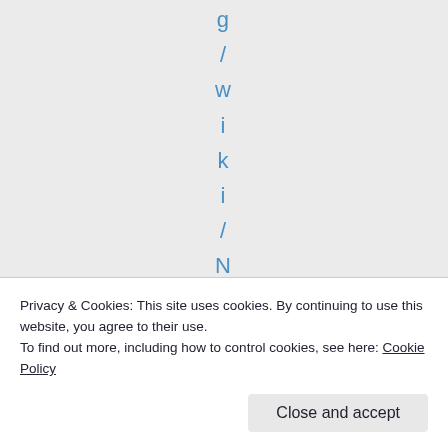g / w i k i / N e w _
Privacy & Cookies: This site uses cookies. By continuing to use this website, you agree to their use.
To find out more, including how to control cookies, see here: Cookie Policy
Close and accept